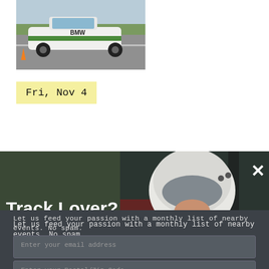[Figure (photo): White BMW race car on a track, partial view, green markings on car body]
Fri, Nov 4
[Figure (photo): Woman in white racing helmet sitting in a race car cockpit, smiling, with red interior visible. Text overlay: 'Track Lover?' with close X button.]
Let us feed your passion with a monthly list of nearby events. No spam.
Enter your email address
Enter your Postal/Zip Code
I'M A FAN, LET ME IN
ATTEND AN EVENT